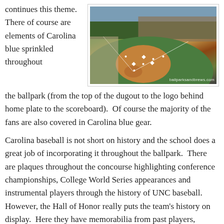continues this theme.  There of course are elements of Carolina blue sprinkled throughout the ballpark (from the top of the dugout to the logo behind home plate to the scoreboard).  Of course the majority of the fans are also covered in Carolina blue gear.
[Figure (photo): Aerial view of a baseball stadium with green field, red clay infield, and stands full of fans. Watermark reads ballparksandbrews.com]
Carolina baseball is not short on history and the school does a great job of incorporating it throughout the ballpark.  There are plaques throughout the concourse highlighting conference championships, College World Series appearances and instrumental players through the history of UNC baseball. However, the Hall of Honor really puts the team's history on display.  Here they have memorabilia from past players, videos from their CWS appearances and lists of players that have been drafted in the MLB draft.  All of this in an air-conditioned suite that overlooks the field so you can still watch the